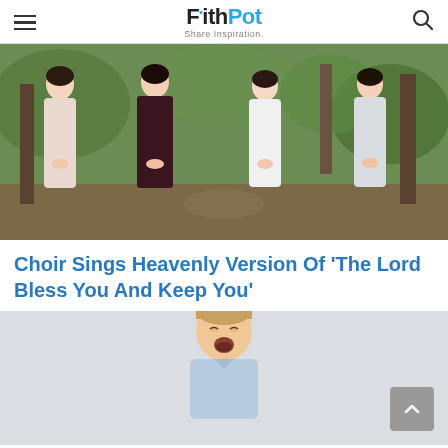FaithPot — Share Inspiration.
[Figure (photo): Four women in long dresses standing outdoors in a green forested area. From left: pale pink dress, dark maroon/brown dress, white dress, light gray dress.]
Choir Sings Heavenly Version Of ‘The Lord Bless You And Keep You’
[Figure (photo): A young boy singing with his mouth open wide, wearing a light blue shirt, photographed against a light gray/white sky.]